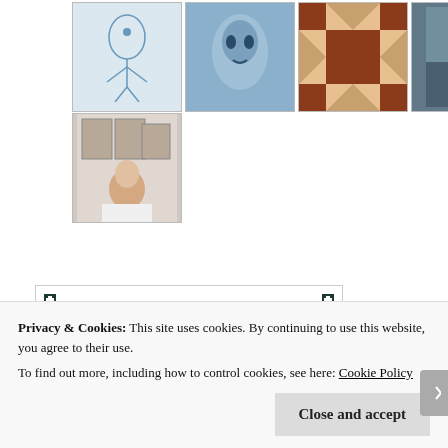[Figure (photo): Grid of 8 blog avatar thumbnail images arranged in two rows — row 1: illustrated figure, blue-tinted face, geometric quilt pattern, person outdoors, woman smiling, pink quilt pattern, woman with curly hair; row 2: woman sitting in front of artwork]
[Figure (illustration): The Versatile Blogger Award medallion — circular badge with decorative border, text reading 'the VERSATILE BLOGGER Award' in stylized fonts, with corner bookmark decorations on a white framed background]
Privacy & Cookies: This site uses cookies. By continuing to use this website, you agree to their use.
To find out more, including how to control cookies, see here: Cookie Policy
Close and accept